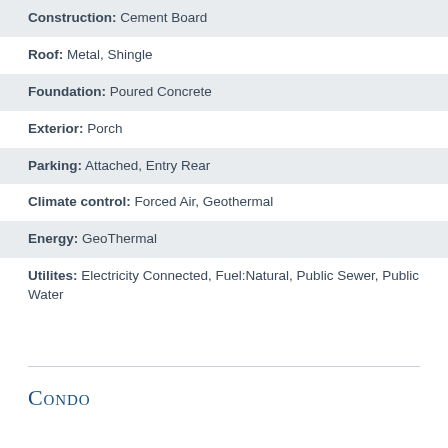Construction: Cement Board
Roof: Metal, Shingle
Foundation: Poured Concrete
Exterior: Porch
Parking: Attached, Entry Rear
Climate control: Forced Air, Geothermal
Energy: GeoThermal
Utilites: Electricity Connected, Fuel:Natural, Public Sewer, Public Water
Condo